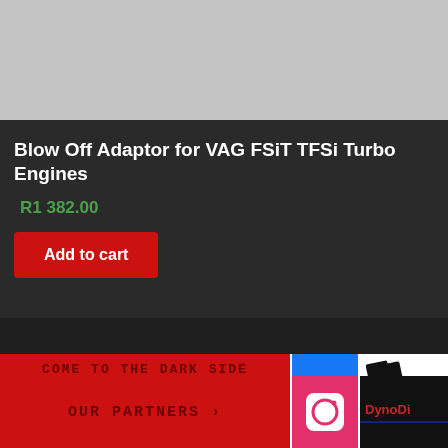[Figure (photo): Product image area — light gray background, partial view of a product photo at top of page]
Blow Off Adaptor for VAG FSiT TFSi Turbo Engines
R1 382.00
Add to cart
COME TO THE DARK SIDE
Unit 5   Yoshen Maistry
The Factories  079 023 0345
3 Jansen Road  yosh@darkartz.co.za
Jet Park
[Figure (logo): Facebook logo icon — blue background with white F]
[Figure (logo): MCS Tuning logo — white background with black diagonal stripe lettering]
[Figure (logo): Twitter / X bird logo — blue background with white bird icon]
[Figure (logo): Integrity Engineering logo — dark background with red gear/chain graphic and text]
OUR PARTNERS ›
[Figure (logo): Instagram logo — white circle camera icon on gradient/red background]
[Figure (logo): DynoDi logo — dark background with red and blue racing-style text]